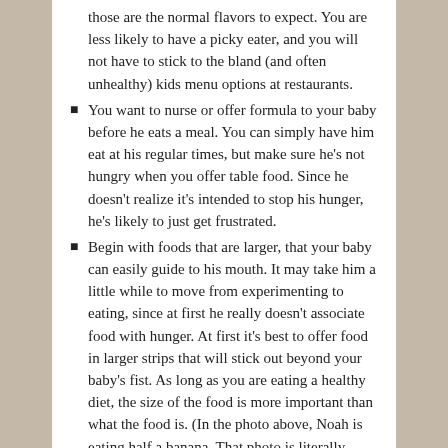those are the normal flavors to expect. You are less likely to have a picky eater, and you will not have to stick to the bland (and often unhealthy) kids menu options at restaurants.
You want to nurse or offer formula to your baby before he eats a meal. You can simply have him eat at his regular times, but make sure he's not hungry when you offer table food. Since he doesn't realize it's intended to stop his hunger, he's likely to just get frustrated.
Begin with foods that are larger, that your baby can easily guide to his mouth. It may take him a little while to move from experimenting to eating, since at first he really doesn't associate food with hunger. At first it's best to offer food in larger strips that will stick out beyond your baby's fist. As long as you are eating a healthy diet, the size of the food is more important than what the food is. (In the photo above, Noah is eating half a banana. That photo is literally from his first meal – notice how good he is at it already. He doesn't need our help.)
The...